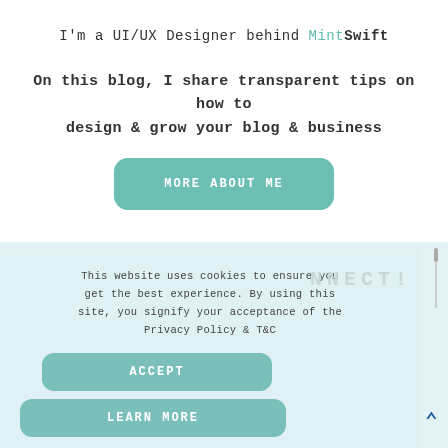I'm a UI/UX Designer behind MintSwift
On this blog, I share transparent tips on how to design & grow your blog & business
MORE ABOUT ME
This website uses cookies to ensure you get the best experience. By using this site, you signify your acceptance of the Privacy Policy & T&C
ACCEPT
LEARN MORE